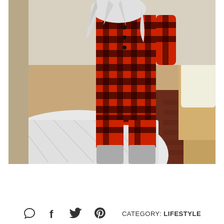[Figure (photo): Person wearing red and black buffalo plaid thermal one-piece pajamas with grey socks, standing next to a bed with white bedding in a bedroom with wooden floors.]
CATEGORY: LIFESTYLE